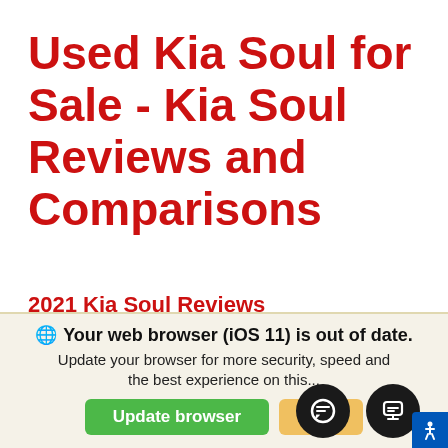Used Kia Soul for Sale - Kia Soul Reviews and Comparisons
2021 Kia Soul Reviews
In-depth review of the 2021 KIA SOUL GT-LINE. - Watch to find out all the specs, including cargo and space dimensions.
We use cookies to optimize our website and our service. Cookie Policy - Privacy Statement
Your web browser (iOS 11) is out of date. Update your browser for more security, speed and the best experience on this...